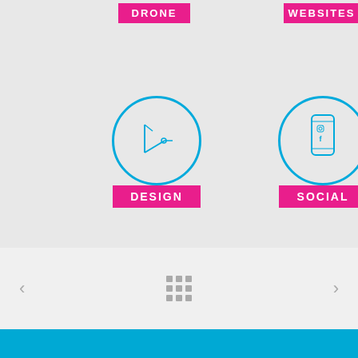[Figure (infographic): Two service category icons in circles with pink badge labels. Left: DRONE label at top, DESIGN circle with drafting/pencil icon and pink DESIGN label. Right: WEBSITES label at top, SOCIAL circle with smartphone icon and pink SOCIAL label.]
[Figure (infographic): Navigation UI with left arrow, 3x3 grid dots icon in center, and right arrow on light gray background.]